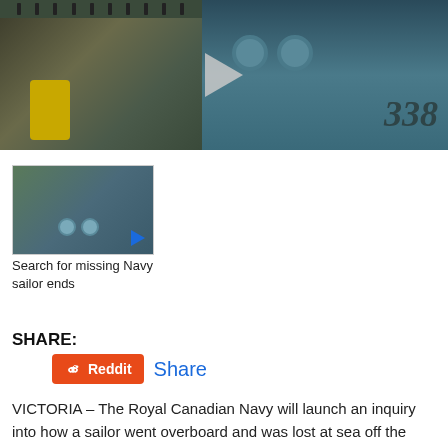[Figure (screenshot): Main video player showing naval ship scene — left side shows dock equipment with yellow machinery, right side shows ship hull numbered 338 with two portholes. Large play button in center.]
[Figure (screenshot): Thumbnail of naval ship video with small blue play button in lower right corner.]
Search for missing Navy sailor ends
SHARE:
Reddit Share
VICTORIA – The Royal Canadian Navy will launch an inquiry into how a sailor went overboard and was lost at sea off the coast of California while his ship was returning